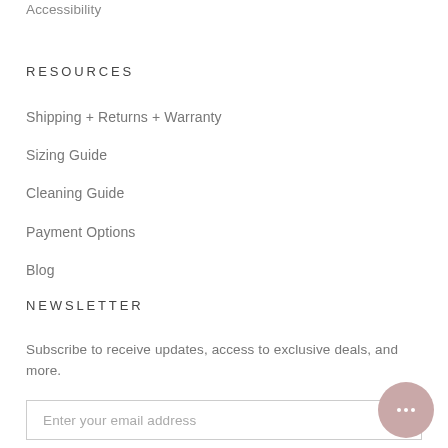Accessibility
RESOURCES
Shipping + Returns + Warranty
Sizing Guide
Cleaning Guide
Payment Options
Blog
NEWSLETTER
Subscribe to receive updates, access to exclusive deals, and more.
Enter your email address